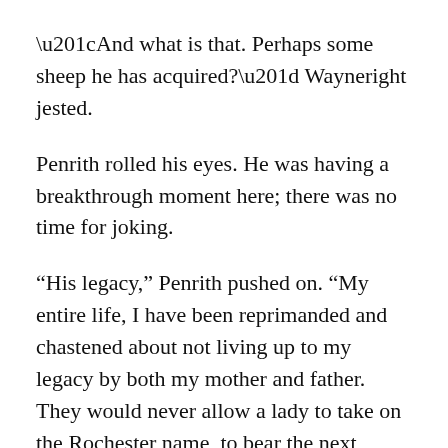“And what is that. Perhaps some sheep he has acquired?” Wayneright jested.
Penrith rolled his eyes. He was having a breakthrough moment here; there was no time for joking.
“His legacy,” Penrith pushed on. “My entire life, I have been reprimanded and chastened about not living up to my legacy by both my mother and father. They would never allow a lady to take on the Rochester name, to bear the next generation if she was in some way found wanting.”
“What are you suggesting? Ruin her reputation